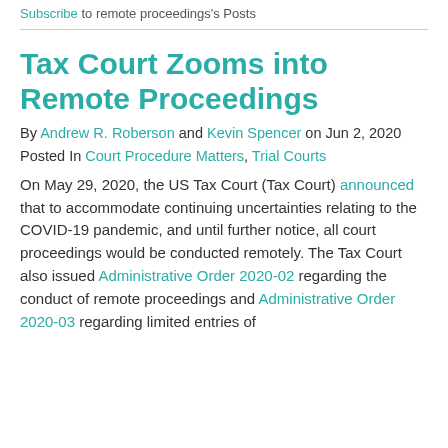Subscribe to remote proceedings's Posts
Tax Court Zooms into Remote Proceedings
By Andrew R. Roberson and Kevin Spencer on Jun 2, 2020
Posted In Court Procedure Matters, Trial Courts
On May 29, 2020, the US Tax Court (Tax Court) announced that to accommodate continuing uncertainties relating to the COVID-19 pandemic, and until further notice, all court proceedings would be conducted remotely. The Tax Court also issued Administrative Order 2020-02 regarding the conduct of remote proceedings and Administrative Order 2020-03 regarding limited entries of